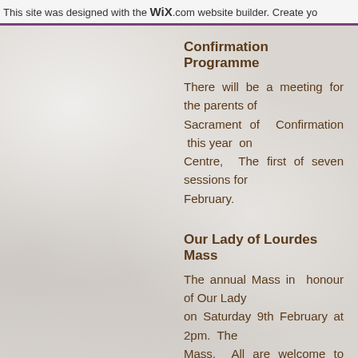This site was designed with the WIX.com website builder. Create yo
Confirmation Programme
There will be a meeting for the parents of the Sacrament of Confirmation this year on Centre, The first of seven sessions for February.
Our Lady of Lourdes Mass
The annual Mass in honour of Our Lady on Saturday 9th February at 2pm. The Mass. All are welcome to attend. A sp infirm, all hospital chaplains, doctors, n healthcare. If you or someone you know know by Sunday 27th January